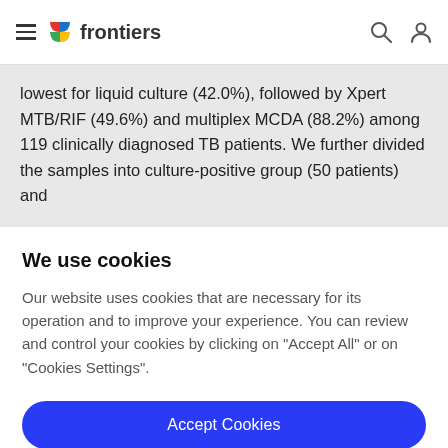frontiers
lowest for liquid culture (42.0%), followed by Xpert MTB/RIF (49.6%) and multiplex MCDA (88.2%) among 119 clinically diagnosed TB patients. We further divided the samples into culture-positive group (50 patients) and
We use cookies
Our website uses cookies that are necessary for its operation and to improve your experience. You can review and control your cookies by clicking on "Accept All" or on "Cookies Settings".
Accept Cookies
Cookies Settings